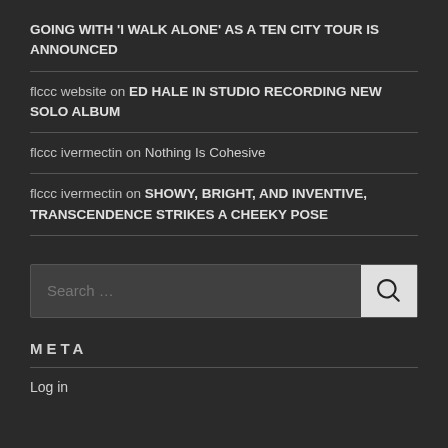GOING WITH ‘I WALK ALONE’ AS A TEN CITY TOUR IS ANNOUNCED
flccc website on ED HALE IN STUDIO RECORDING NEW SOLO ALBUM
flccc ivermectin on Nothing Is Cohesive
flccc ivermectin on SHOWY, BRIGHT, AND INVENTIVE, TRANSCENDENCE STRIKES A CHEEKY POSE
Search …
META
Log in